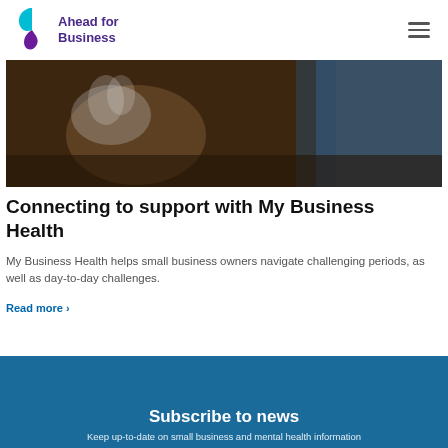Ahead for Business
[Figure (photo): Close-up blurred photo of a laptop or device on a dark wooden table, with a person in blue clothing partially visible in the background.]
Connecting to support with My Business Health
My Business Health helps small business owners navigate challenging periods, as well as day-to-day challenges.
Read more ›
Subscribe to news
Keep up-to-date on small business and mental health information